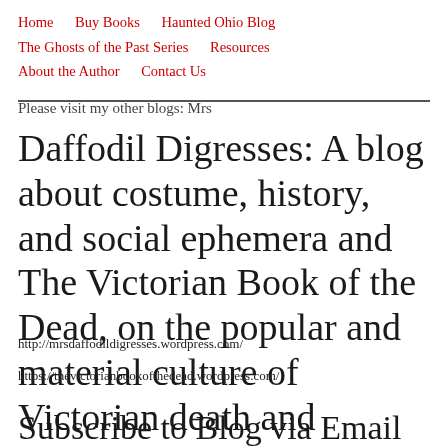Home    Buy Books    Haunted Ohio Blog
The Ghosts of the Past Series    Resources
About the Author    Contact Us
Please visit my other blogs: Mrs Daffodil Digresses: A blog about costume, history, and social ephemera and The Victorian Book of the Dead, on the popular and material culture of Victorian death and mourning.
http://mrsdaffodildigresses.wordpress.com/
https://thevictorianbookofthedead.wordpress.com/
Subscribe to Blog via Email